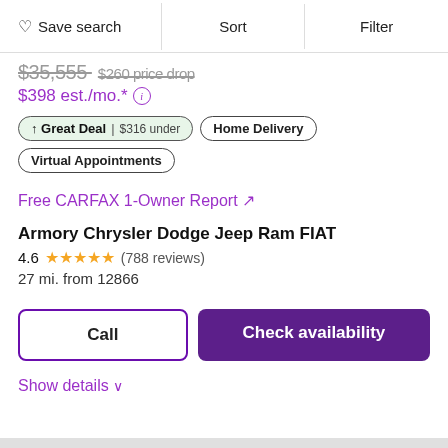Save search  Sort  Filter
$35,555  $260 price drop
$398 est./mo.* (i)
↑ Great Deal | $316 under  Home Delivery  Virtual Appointments
Free CARFAX 1-Owner Report ↗
Armory Chrysler Dodge Jeep Ram FIAT
4.6 ★★★★½ (788 reviews)
27 mi. from 12866
Call  Check availability
Show details ∨